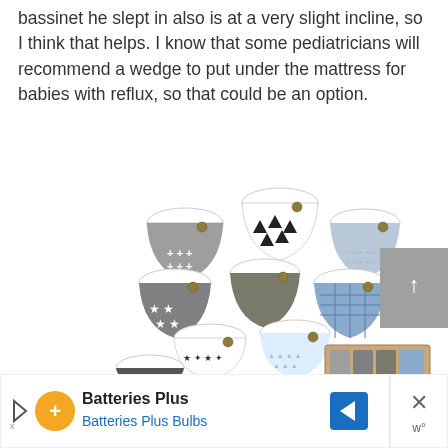bassinet he slept in also is at a very slight incline, so I think that helps. I know that some pediatricians will recommend a wedge to put under the mattress for babies with reflux, so that could be an option.
[Figure (photo): Collection of bandana-style baby bibs in various patterns including gray, black/white triangles, stars, blue geometric, and a boxed set shown at bottom right.]
[Figure (other): Gray scroll/navigation button with upward arrow on right side of page.]
[Figure (other): Advertisement bar for Batteries Plus / Batteries Plus Bulbs with orange logo, blue navigation arrow icon, and close button.]